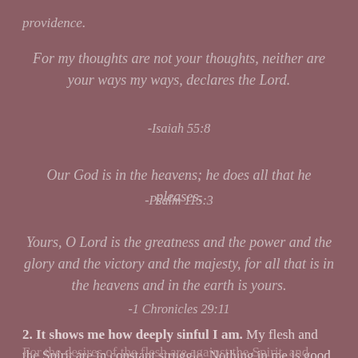providence.
For my thoughts are not your thoughts, neither are your ways my ways, declares the Lord.
-Isaiah 55:8
Our God is in the heavens; he does all that he pleases.
-Psalm 115:3
Yours, O Lord is the greatness and the power and the glory and the victory and the majesty, for all that is in the heavens and in the earth is yours.
-1 Chronicles 29:11
2. It shows me how deeply sinful I am. My flesh and the Spirit are in constant struggle. Nothing in me is good apart from Jesus.
For the desires of the flesh are against the Spirit, and